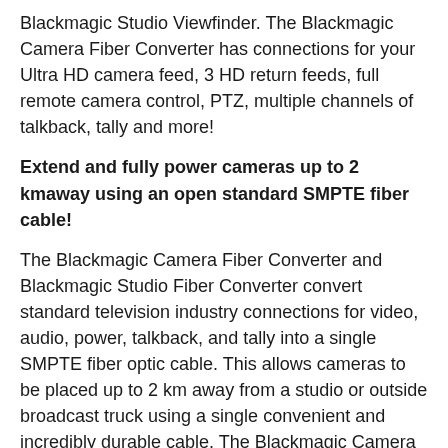Blackmagic Studio Viewfinder. The Blackmagic Camera Fiber Converter has connections for your Ultra HD camera feed, 3 HD return feeds, full remote camera control, PTZ, multiple channels of talkback, tally and more!
Extend and fully power cameras up to 2 kmaway using an open standard SMPTE fiber cable!
The Blackmagic Camera Fiber Converter and Blackmagic Studio Fiber Converter convert standard television industry connections for video, audio, power, talkback, and tally into a single SMPTE fiber optic cable. This allows cameras to be placed up to 2 km away from a studio or outside broadcast truck using a single convenient and incredibly durable cable. The Blackmagic Camera Fiber Converter also adds familiar broadcast studio camera controls to the rear of the camera, plus additional connections so you can use it with the talkback systems and switchers you already have. The Blackmagic fiber converters feature 12G-SDI and are designed to work with all HD and Ultra HD formats up to 2160p60. Now you can transform professional cameras such as URSA Broadcast and URSA Mini into a